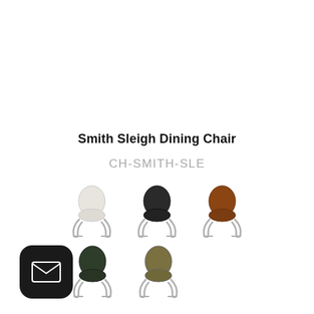Smith Sleigh Dining Chair
CH-SMITH-SLE
[Figure (photo): Five Smith Sleigh Dining Chairs in different colors/upholstery: white/cream, black, brown/cognac, dark green, and olive/tan, each with chrome sleigh base legs]
[Figure (logo): Email contact button - black rounded square with white envelope icon]